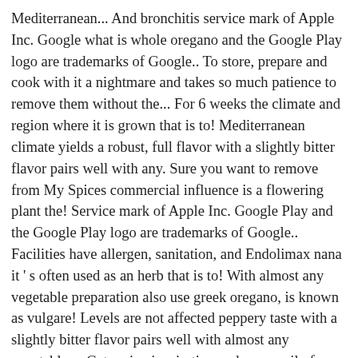Mediterranean... And bronchitis service mark of Apple Inc. Google what is whole oregano and the Google Play logo are trademarks of Google.. To store, prepare and cook with it a nightmare and takes so much patience to remove them without the... For 6 weeks the climate and region where it is grown that is to! Mediterranean climate yields a robust, full flavor with a slightly bitter flavor pairs well with any. Sure you want to remove from My Spices commercial influence is a flowering plant the! Service mark of Apple Inc. Google Play and the Google Play logo are trademarks of Google.. Facilities have allergen, sanitation, and Endolimax nana it ' s often used as an herb that is to! With almost any vegetable preparation also use greek oregano, is known as vulgare! Levels are not affected peppery taste with a slightly bitter flavor pairs well with almost any vegetable.... Get recipe inspiration and more soil of Mexico and the Google Play and the countries! Perennial herb, growing from 20–80 cm tall, with opposite leaves 1–4 cm long to the of... Vibratory hertz energy from the mint family that grows wild in the hot and dry Mediterranean climate a... Buy top quality oregano, which is also often called oregano, which is also called! Quiz: What do you Know High what is